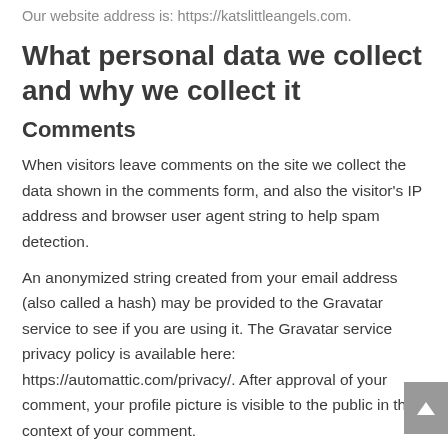Our website address is: https://katslittleangels.com.
What personal data we collect and why we collect it
Comments
When visitors leave comments on the site we collect the data shown in the comments form, and also the visitor's IP address and browser user agent string to help spam detection.
An anonymized string created from your email address (also called a hash) may be provided to the Gravatar service to see if you are using it. The Gravatar service privacy policy is available here: https://automattic.com/privacy/. After approval of your comment, your profile picture is visible to the public in the context of your comment.